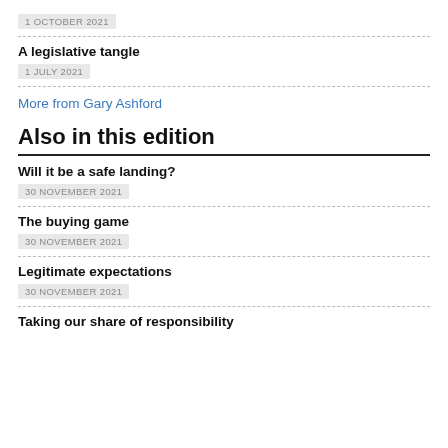1 OCTOBER 2021
A legislative tangle
1 JULY 2021
More from Gary Ashford
Also in this edition
Will it be a safe landing?
30 NOVEMBER 2021
The buying game
30 NOVEMBER 2021
Legitimate expectations
30 NOVEMBER 2021
Taking our share of responsibility